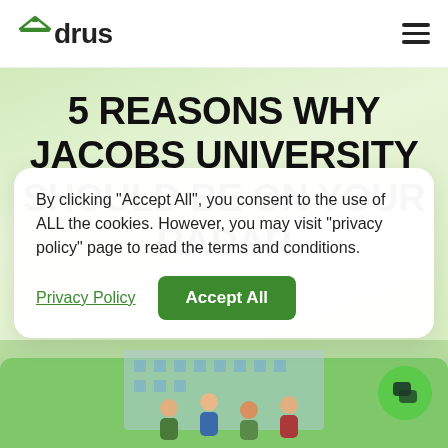Udrus
5 REASONS WHY JACOBS UNIVERSITY SHOULD BE ON YOUR RADAR
By clicking "Accept All", you consent to the use of ALL the cookies. However, you may visit "privacy policy" page to read the terms and conditions.
Privacy Policy  Accept All